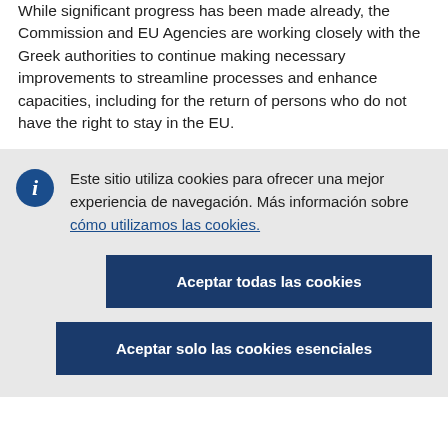While significant progress has been made already, the Commission and EU Agencies are working closely with the Greek authorities to continue making necessary improvements to streamline processes and enhance capacities, including for the return of persons who do not have the right to stay in the EU.
Este sitio utiliza cookies para ofrecer una mejor experiencia de navegación. Más información sobre cómo utilizamos las cookies.
Aceptar todas las cookies
Aceptar solo las cookies esenciales